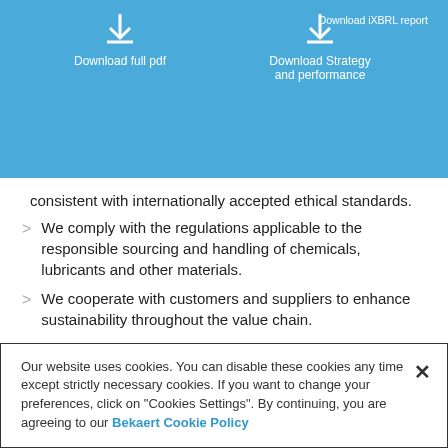[Figure (screenshot): Blue header bar with download buttons: 'Download full pdf', 'Download Strategy and performance', and 'Download iXBRL report']
consistent with internationally accepted ethical standards.
We comply with the regulations applicable to the responsible sourcing and handling of chemicals, lubricants and other materials.
We cooperate with customers and suppliers to enhance sustainability throughout the value chain.
We develop, digitalize and monitor manufacturing processes to ensure consistent quality and continuously enhance process and energy efficiency.
Our website uses cookies. You can disable these cookies any time except strictly necessary cookies. If you want to change your preferences, click on "Cookies Settings". By continuing, you are agreeing to our Bekaert Cookie Policy